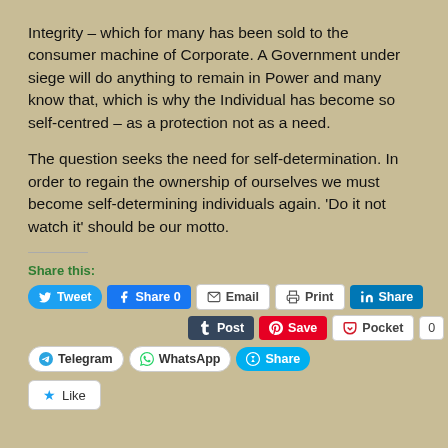Integrity – which for many has been sold to the consumer machine of Corporate. A Government under siege will do anything to remain in Power and many know that, which is why the Individual has become so self-centred – as a protection not as a need.
The question seeks the need for self-determination. In order to regain the ownership of ourselves we must become self-determining individuals again. 'Do it not watch it' should be our motto.
Share this:
Tweet | Share 0 | Email | Print | Share | Post | Save | Pocket 0 | Telegram | WhatsApp | Share | Like